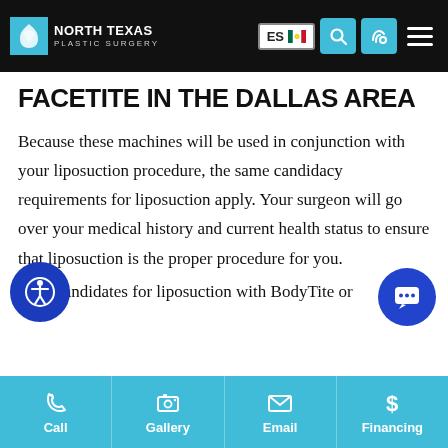North Texas Plastic Surgery — ES | Search | Call | Menu
FACETITE IN THE DALLAS AREA
Because these machines will be used in conjunction with your liposuction procedure, the same candidacy requirements for liposuction apply. Your surgeon will go over your medical history and current health status to ensure that liposuction is the proper procedure for you.
Ideal candidates for liposuction with BodyTite or
Call | Gallery | Email | Financing